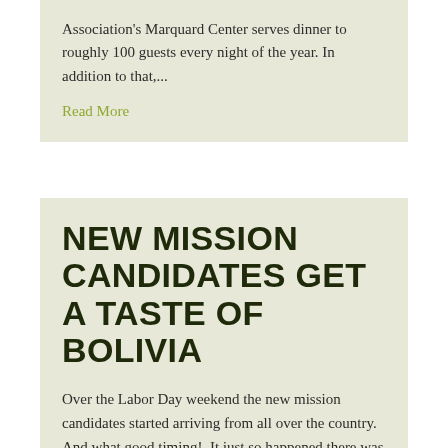Association's Marquard Center serves dinner to roughly 100 guests every night of the year. In addition to that,...
Read More
NEW MISSION CANDIDATES GET A TASTE OF BOLIVIA
Over the Labor Day weekend the new mission candidates started arriving from all over the country.  And what good timing!  It just so happened there was a Bolivian festival going on at the Prince William County Fairgrounds in Manassas, VA.  Many of these candidates are interested in going to Bolivia for their...